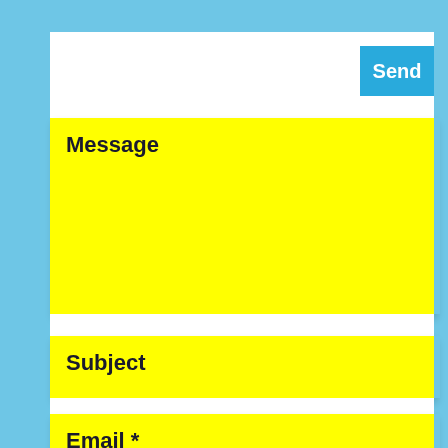Send
Message
Subject
Email *
Name *